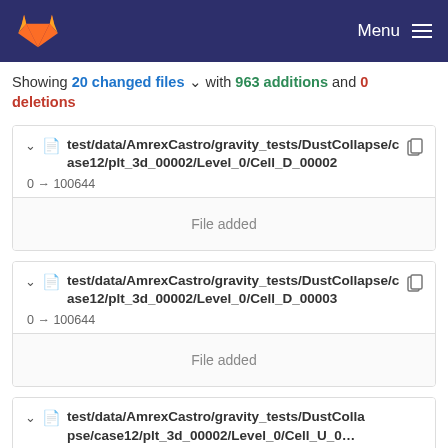Menu
Showing 20 changed files with 963 additions and 0 deletions
test/data/AmrexCastro/gravity_tests/DustCollapse/case12/plt_3d_00002/Level_0/Cell_D_00002
0 → 100644
File added
test/data/AmrexCastro/gravity_tests/DustCollapse/case12/plt_3d_00002/Level_0/Cell_D_00003
0 → 100644
File added
test/data/AmrexCastro/gravity_tests/DustCollapse/case12/plt_3d_00002/Level_0/Cell_U_0...